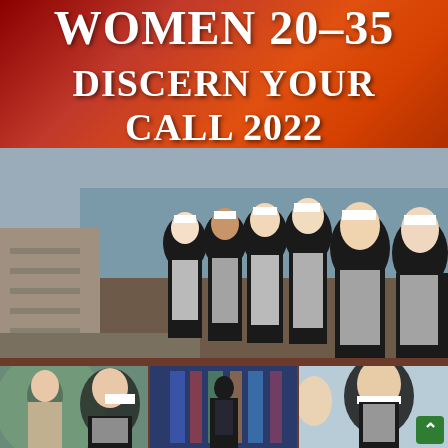WOMEN 20-35
DISCERN YOUR CALL 2022
[Figure (photo): Group of women religious (nuns) wearing black and white habits standing together on a dock/pier near water, smiling and posing for the photo]
[Figure (photo): Three smaller photos at the bottom: left shows two women including a nun in partial view; center shows a stained glass window with a dark-robed figure; right shows a nun smiling, with a green scroll-to-top button overlay]